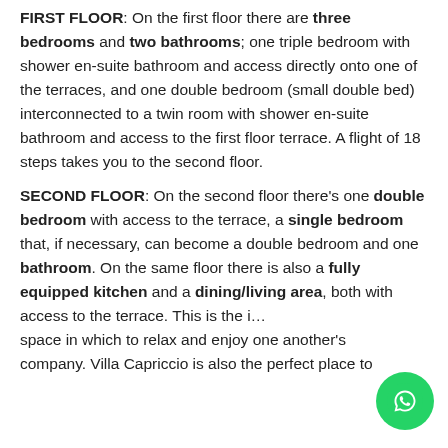FIRST FLOOR: On the first floor there are three bedrooms and two bathrooms; one triple bedroom with shower en-suite bathroom and access directly onto one of the terraces, and one double bedroom (small double bed) interconnected to a twin room with shower en-suite bathroom and access to the first floor terrace. A flight of 18 steps takes you to the second floor.
SECOND FLOOR: On the second floor there's one double bedroom with access to the terrace, a single bedroom that, if necessary, can become a double bedroom and one bathroom. On the same floor there is also a fully equipped kitchen and a dining/living area, both with access to the terrace. This is the ideal space in which to relax and enjoy one another's company. Villa Capriccio is also the perfect place to